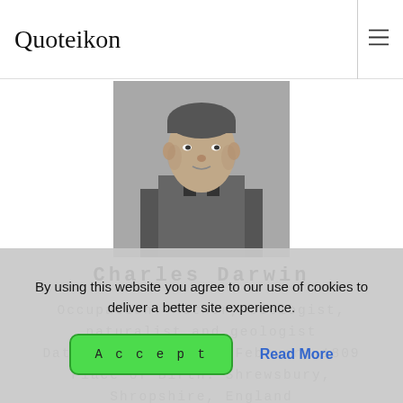Quoteikon
[Figure (photo): Black and white portrait photograph of a young Charles Darwin]
Charles Darwin
Occupation: Author, biologist, naturalist and geologist
Date of Birth: 12th February 1809
Place of Birth: Shrewsbury, Shropshire, England
By using this website you agree to our use of cookies to deliver a better site experience.
Accept   Read More